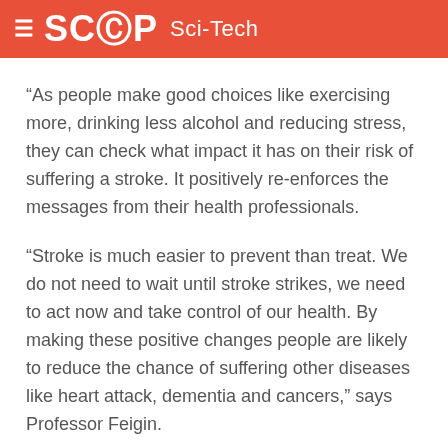SCOOP Sci-Tech
“As people make good choices like exercising more, drinking less alcohol and reducing stress, they can check what impact it has on their risk of suffering a stroke. It positively re-enforces the messages from their health professionals.
“Stroke is much easier to prevent than treat. We do not need to wait until stroke strikes, we need to act now and take control of our health. By making these positive changes people are likely to reduce the chance of suffering other diseases like heart attack, dementia and cancers,” says Professor Feigin.